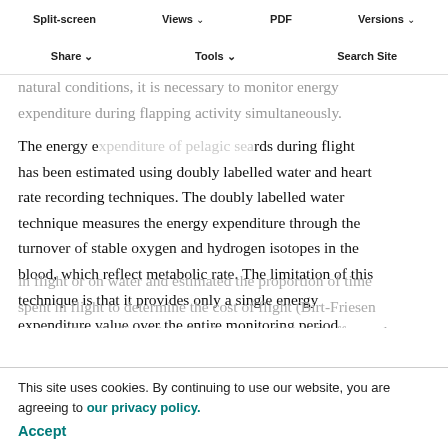Split-screen | Views | PDF | Versions
Share | Tools | Search Site
natural conditions, it is necessary to monitor energy expenditure during flapping activity simultaneously. The energy expenditure of pelagic seabirds during flight has been estimated using doubly labelled water and heart rate recording techniques. The doubly labelled water technique measures the energy expenditure through the turnover of stable oxygen and hydrogen isotopes in the blood, which reflect metabolic rate. The limitation of this technique is that it provides only a single energy expenditure value over the entire monitoring period. Several studies that applied the doubly labelled water technique simultaneously recorded whether the bird was in flight or on water and estimated the proportion of time spent in flight to determine the cost of flight (Birt-Friesen et al., 1989; Shaffer, 2011; Shaffer et al., 2001; Shaffer et al 2004). Another technique, heart rate monitoring,
This site uses cookies. By continuing to use our website, you are agreeing to our privacy policy.
Accept